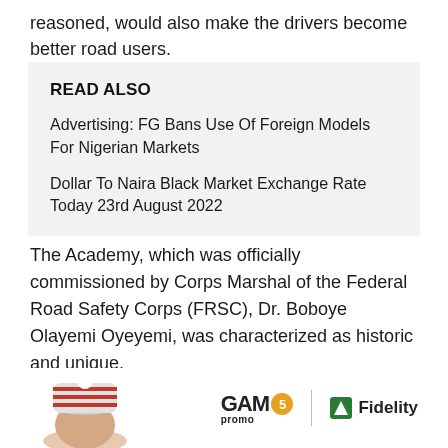reasoned, would also make the drivers become better road users.
READ ALSO
Advertising: FG Bans Use Of Foreign Models For Nigerian Markets
Dollar To Naira Black Market Exchange Rate Today 23rd August 2022
The Academy, which was officially commissioned by Corps Marshal of the Federal Road Safety Corps (FRSC), Dr. Boboye Olayemi Oyeyemi, was characterized as historic and unique.
[Figure (photo): Bottom of page showing partial image of a person wearing a knitted hat on the left, and an advertisement for GAM5 promo with Fidelity bank logo on the right]